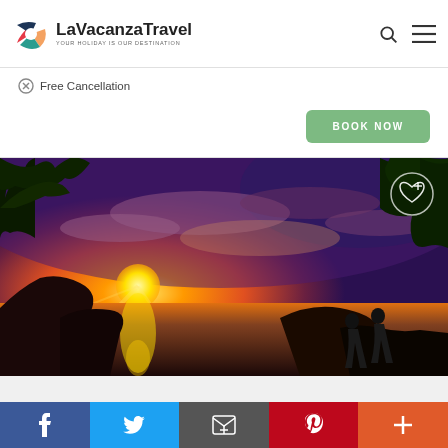LaVacanzaTravel - YOUR HOLIDAY IS OUR DESTINATION
Free Cancellation
BOOK NOW
[Figure (photo): Sunset ocean view with two people watching from a clifftop, trees framing the scene, dramatic orange and purple sky with sun reflecting on water]
Social share bar: Facebook, Twitter, Email, Pinterest, Plus